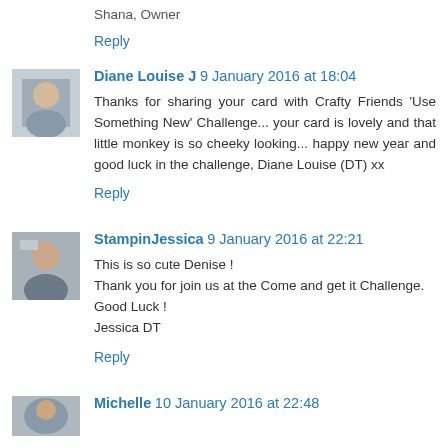Shana, Owner
Reply
Diane Louise J 9 January 2016 at 18:04
Thanks for sharing your card with Crafty Friends 'Use Something New' Challenge... your card is lovely and that little monkey is so cheeky looking... happy new year and good luck in the challenge, Diane Louise (DT) xx
Reply
StampinJessica 9 January 2016 at 22:21
This is so cute Denise !
Thank you for join us at the Come and get it Challenge.
Good Luck !
Jessica DT
Reply
Michelle 10 January 2016 at 22:48